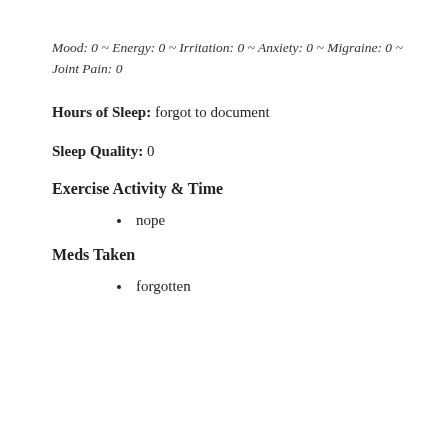Mood: 0 ~ Energy: 0 ~ Irritation: 0 ~ Anxiety: 0 ~ Migraine: 0 ~ Joint Pain: 0
Hours of Sleep: forgot to document
Sleep Quality: 0
Exercise Activity & Time
nope
Meds Taken
forgotten